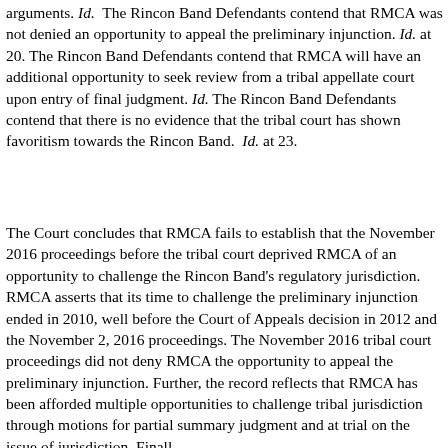arguments. Id. The Rincon Band Defendants contend that RMCA was not denied an opportunity to appeal the preliminary injunction. Id. at 20. The Rincon Band Defendants contend that RMCA will have an additional opportunity to seek review from a tribal appellate court upon entry of final judgment. Id. The Rincon Band Defendants contend that there is no evidence that the tribal court has shown favoritism towards the Rincon Band. Id. at 23.
The Court concludes that RMCA fails to establish that the November 2016 proceedings before the tribal court deprived RMCA of an opportunity to challenge the Rincon Band's regulatory jurisdiction. RMCA asserts that its time to challenge the preliminary injunction ended in 2010, well before the Court of Appeals decision in 2012 and the November 2, 2016 proceedings. The November 2016 tribal court proceedings did not deny RMCA the opportunity to appeal the preliminary injunction. Further, the record reflects that RMCA has been afforded multiple opportunities to challenge tribal jurisdiction through motions for partial summary judgment and at trial on the issue of jurisdiction. Finall...